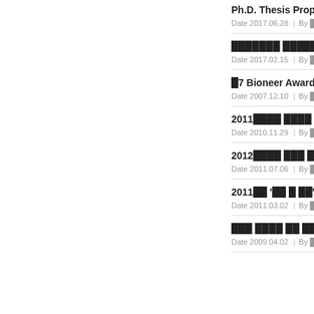Ph.D. Thesis Proposal
░░░░░░░ ░░░░░░ ░░ (░░░░░░ / ░░░░
░7 Bioneer Award ░░ ░░
2011░░░░ ░░░░ ░ ░░ ░░░ ░░░░░
2012░░░░ ░░░ ░░1░ ░░░ ░░
2011░░ '░░ ░ ░░' ░░░ ░░ ░░
░░░ ░░░░ ░░ ░░ ░░ (2009.3